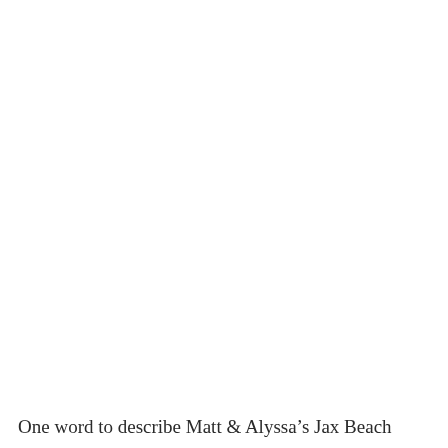One word to describe Matt & Alyssa's Jax Beach